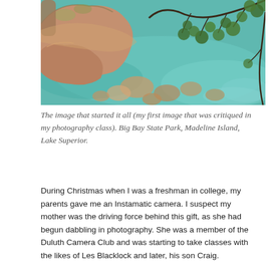[Figure (photo): Nature photograph showing clear turquoise water with colorful rounded rocks visible beneath the surface, large pink/orange sandstone boulders on the left, and pine tree branches hanging from the upper right corner.]
The image that started it all (my first image that was critiqued in my photography class). Big Bay State Park, Madeline Island, Lake Superior.
During Christmas when I was a freshman in college, my parents gave me an Instamatic camera. I suspect my mother was the driving force behind this gift, as she had begun dabbling in photography. She was a member of the Duluth Camera Club and was starting to take classes with the likes of Les Blacklock and later, his son Craig.